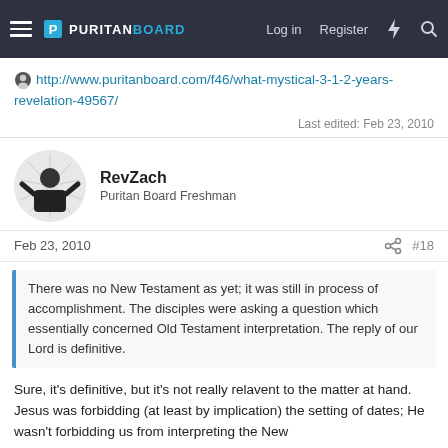PURITANBOARD — Log in  Register
http://www.puritanboard.com/f46/what-mystical-3-1-2-years-revelation-49567/
Last edited: Feb 23, 2010
RevZach
Puritan Board Freshman
Feb 23, 2010
#18
There was no New Testament as yet; it was still in process of accomplishment. The disciples were asking a question which essentially concerned Old Testament interpretation. The reply of our Lord is definitive.
Sure, it's definitive, but it's not really relavent to the matter at hand. Jesus was forbidding (at least by implication) the setting of dates; He wasn't forbidding us from interpreting the New